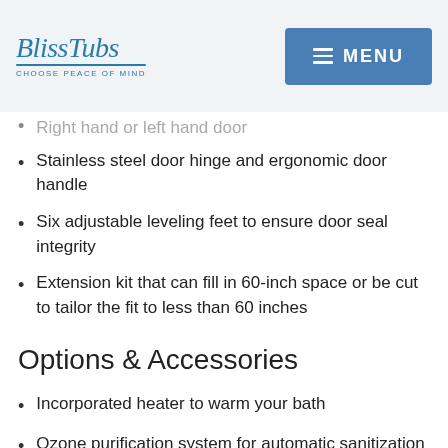BlissTubs — CHOOSE PEACE OF MIND | MENU
Right hand or left hand door
Stainless steel door hinge and ergonomic door handle
Six adjustable leveling feet to ensure door seal integrity
Extension kit that can fill in 60-inch space or be cut to tailor the fit to less than 60 inches
Options & Accessories
Incorporated heater to warm your bath
Ozone purification system for automatic sanitization of the air and/or hydromassage systems
Shower slide bar for taking seated or standing showers
Wall and door…